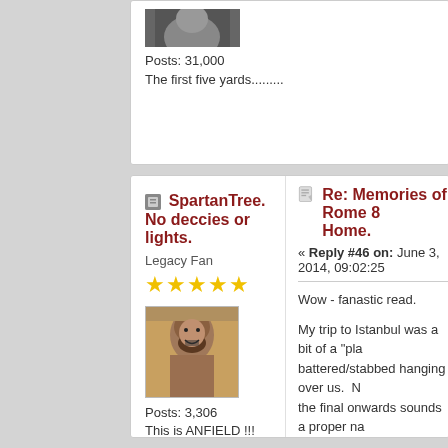[Figure (photo): Partial avatar image cropped at top of page]
Posts: 31,000
The first five yards.........
[Figure (photo): Small gray icon next to username]
SpartanTree. No deccies or lights.
Legacy Fan
[Figure (photo): Five gold star rating]
[Figure (photo): Avatar image of Spartan warrior (from movie 300)]
Posts: 3,306
This is ANFIELD !!!
[Figure (illustration): Quote/reply document icon]
Re: Memories of Rome 8 Home.
« Reply #46 on: June 3, 2014, 09:02:25
Wow - fanastic read.
My trip to Istanbul was a bit of a "pla battered/stabbed hanging over us.  N the final onwards sounds a proper na
'Siempre es posible' - my eyes have seen the
http://www.youtube.com/watch?feature=playe
Physical death I do not fear, death of conscie